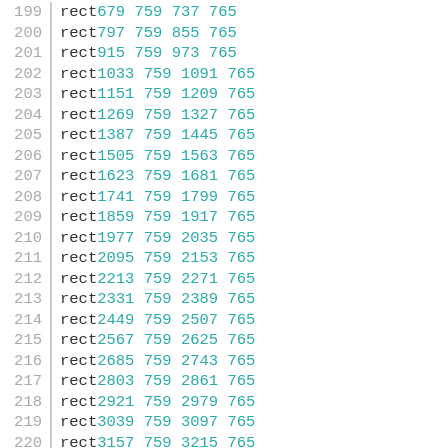199  rect 679 759 737 765
200  rect 797 759 855 765
201  rect 915 759 973 765
202  rect 1033 759 1091 765
203  rect 1151 759 1209 765
204  rect 1269 759 1327 765
205  rect 1387 759 1445 765
206  rect 1505 759 1563 765
207  rect 1623 759 1681 765
208  rect 1741 759 1799 765
209  rect 1859 759 1917 765
210  rect 1977 759 2035 765
211  rect 2095 759 2153 765
212  rect 2213 759 2271 765
213  rect 2331 759 2389 765
214  rect 2449 759 2507 765
215  rect 2567 759 2625 765
216  rect 2685 759 2743 765
217  rect 2803 759 2861 765
218  rect 2921 759 2979 765
219  rect 3039 759 3097 765
220  rect 3157 759 3215 765